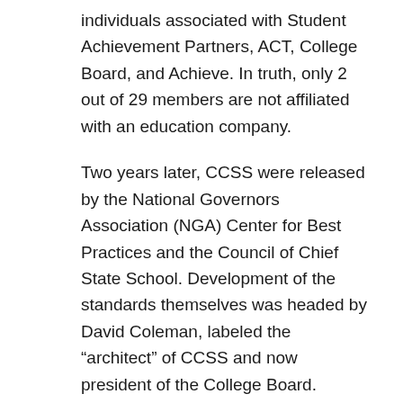individuals associated with Student Achievement Partners, ACT, College Board, and Achieve. In truth, only 2 out of 29 members are not affiliated with an education company.
Two years later, CCSS were released by the National Governors Association (NGA) Center for Best Practices and the Council of Chief State School. Development of the standards themselves was headed by David Coleman, labeled the “architect” of CCSS and now president of the College Board. Coleman’s background includes consulting and assessment, not education, and Coleman also represents the entrepreneurial backing CCSS have received, including funding from the Bill and Molinda Gates Foundation.